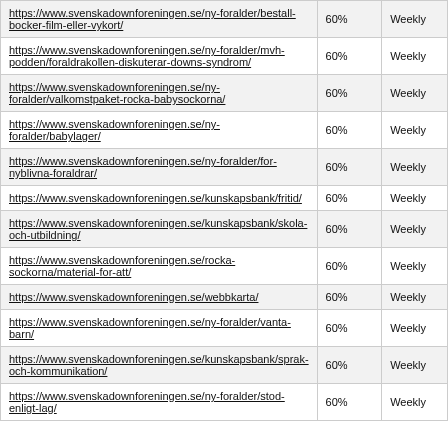| https://www.svenskadownforeningen.se/ny-foralder/bestall-bocker-film-eller-vykort/ | 60% | Weekly |
| https://www.svenskadownforeningen.se/ny-foralder/mvh-podden/foraldrakollen-diskuterar-downs-syndrom/ | 60% | Weekly |
| https://www.svenskadownforeningen.se/ny-foralder/valkomstpaket-rocka-babysockorna/ | 60% | Weekly |
| https://www.svenskadownforeningen.se/ny-foralder/babylager/ | 60% | Weekly |
| https://www.svenskadownforeningen.se/ny-foralder/for-nyblivna-foraldrar/ | 60% | Weekly |
| https://www.svenskadownforeningen.se/kunskapsbank/fritid/ | 60% | Weekly |
| https://www.svenskadownforeningen.se/kunskapsbank/skola-och-utbildning/ | 60% | Weekly |
| https://www.svenskadownforeningen.se/rocka-sockorna/material-for-att/ | 60% | Weekly |
| https://www.svenskadownforeningen.se/webbkarta/ | 60% | Weekly |
| https://www.svenskadownforeningen.se/ny-foralder/vanta-barn/ | 60% | Weekly |
| https://www.svenskadownforeningen.se/kunskapsbank/sprak-och-kommunikation/ | 60% | Weekly |
| https://www.svenskadownforeningen.se/ny-foralder/stod-enligt-lag/ | 60% | Weekly |